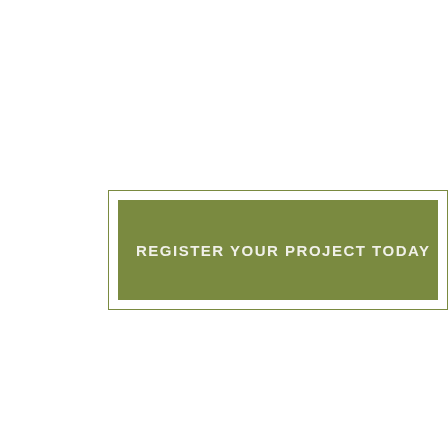[Figure (logo): Green rectangular box with inner fill labeled REGISTER YOUR PROJECT TODAY]
[Figure (logo): Gold hexagonal badge with community/people icon, labeled NEW BUILD at top and SUSTAINABLE PRECINCTS at bottom]